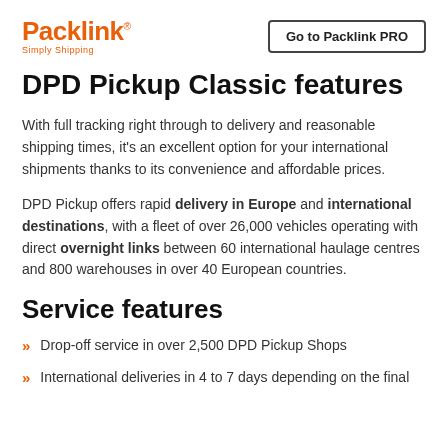[Figure (logo): Packlink logo with orange text and 'Simply Shipping' tagline]
Go to Packlink PRO
DPD Pickup Classic features
With full tracking right through to delivery and reasonable shipping times, it's an excellent option for your international shipments thanks to its convenience and affordable prices.
DPD Pickup offers rapid delivery in Europe and international destinations, with a fleet of over 26,000 vehicles operating with direct overnight links between 60 international haulage centres and 800 warehouses in over 40 European countries.
Service features
Drop-off service in over 2,500 DPD Pickup Shops
International deliveries in 4 to 7 days depending on the final